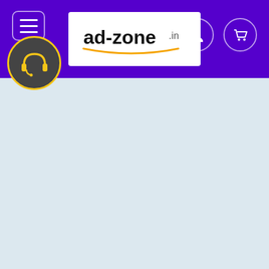[Figure (screenshot): Website header bar with purple background containing hamburger menu icon on left, ad-zone.in logo in center white box, and user/cart icon circles on right. Below the header is a pale blue-grey content area. A customer support headset icon in a dark circular badge with yellow border overlaps the bottom-left of the header.]